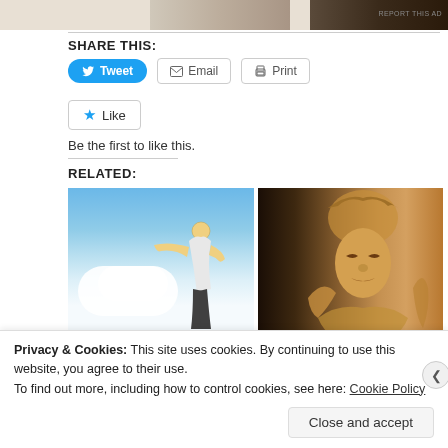[Figure (photo): Top advertisement banner strip with partial images in tan/beige tones. 'REPORT THIS AD' text visible at right.]
SHARE THIS:
Tweet  Email  Print (share buttons)
Like  Be the first to like this.
RELATED:
[Figure (photo): Photo of a person jumping or falling against a blue sky with white clouds, arms outstretched.]
[Figure (photo): Stone carved Buddha or deity sculpture in tan/golden tones against dark background.]
Election Day Notes From Tokyo
Race and Ethnicity: A
Privacy & Cookies: This site uses cookies. By continuing to use this website, you agree to their use.
To find out more, including how to control cookies, see here: Cookie Policy
Close and accept